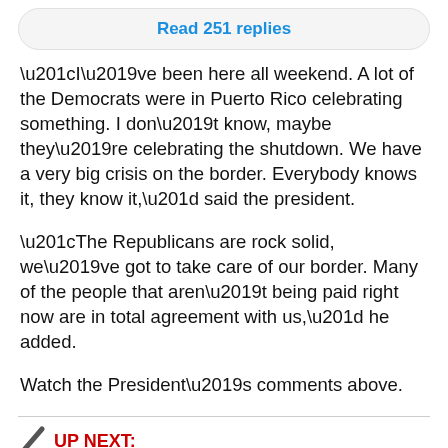Read 251 replies
“I’ve been here all weekend. A lot of the Democrats were in Puerto Rico celebrating something. I don’t know, maybe they’re celebrating the shutdown. We have a very big crisis on the border. Everybody knows it, they know it,” said the president.
“The Republicans are rock solid, we’ve got to take care of our border. Many of the people that aren’t being paid right now are in total agreement with us,” he added.
Watch the President’s comments above.
UP NEXT: